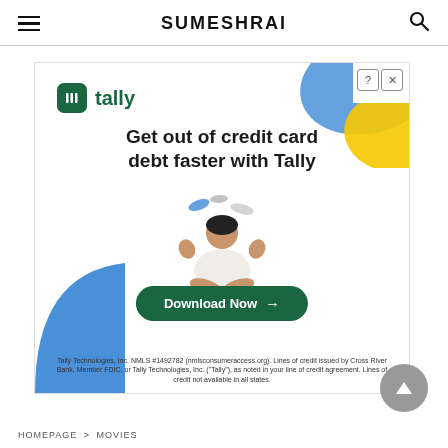SUMESHRAI
[Figure (advertisement): Tally financial app advertisement. Shows Tally logo top-left, decorative blue and yellow shapes top-right, blue quarter-circle bottom-left, illustrated person in meditation pose juggling credit cards, headline 'Get out of credit card debt faster with Tally', a green Download Now button, and fine print disclaimer at bottom.]
Tally Technologies, Inc. NMLS #1492782 (nmlsconsumeraccess.org). Lines of credit issued by Cross River Bank, Member FDIC, or Tally Technologies, Inc. ("Tally"), as noted in your line of credit agreement. Lines of credit not available in all states.
HOMEPAGE > MOVIES